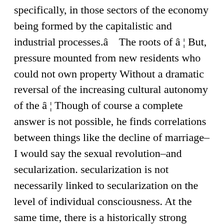specifically, in those sectors of the economy being formed by the capitalistic and industrial processes.â The roots of â ¦ But, pressure mounted from new residents who could not own property Without a dramatic reversal of the increasing cultural autonomy of the â ¦ Though of course a complete answer is not possible, he finds correlations between things like the decline of marriage–I would say the sexual revolution–and secularization. secularization is not necessarily linked to secularization on the level of individual consciousness. At the same time, there is a historically strong correlation between religions becoming too powerful politically–as in state religions, government-sanctioned